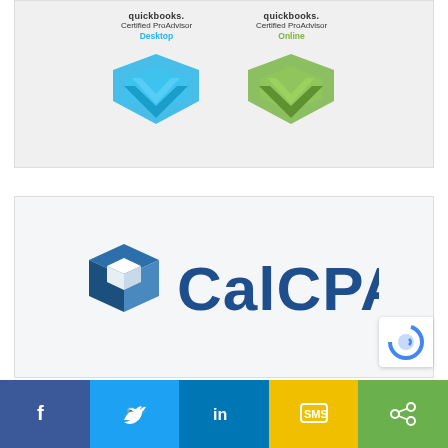[Figure (logo): Two QuickBooks Certified ProAdvisor badges side by side — Desktop (blue chevron) and Online (green chevron)]
[Figure (logo): CalCPA logo with blue 3D cube icon and CalCPA text in dark blue]
[Figure (other): Social sharing bar with Facebook, Twitter, LinkedIn, SMS, and share icons]